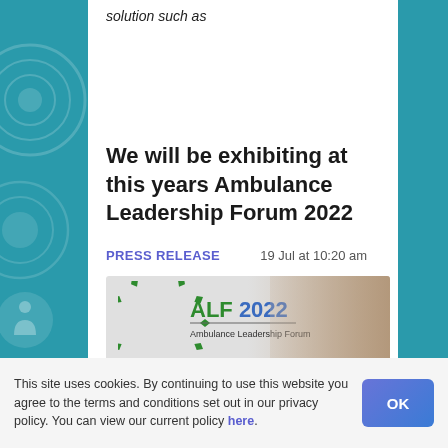solution such as
We will be exhibiting at this years Ambulance Leadership Forum 2022
PRESS RELEASE   19 Jul at 10:20 am
[Figure (logo): ALF 2022 Ambulance Leadership Forum logo on a light grey banner with a person in the background]
This site uses cookies. By continuing to use this website you agree to the terms and conditions set out in our privacy policy. You can view our current policy here.